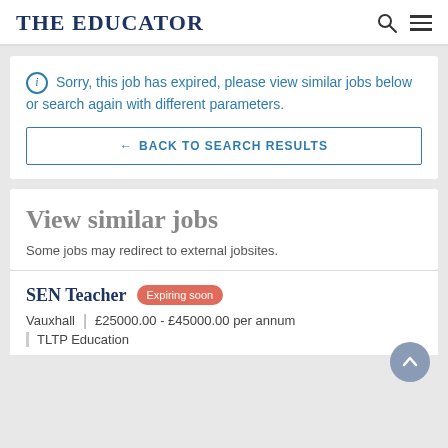THE EDUCATOR
ⓘ Sorry, this job has expired, please view similar jobs below or search again with different parameters.
← BACK TO SEARCH RESULTS
View similar jobs
Some jobs may redirect to external jobsites.
SEN Teacher Expiring soon
Vauxhall | £25000.00 - £45000.00 per annum
TLTP Education